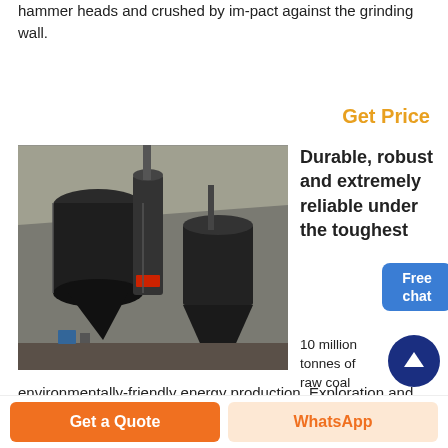hammer heads and crushed by im-pact against the grinding wall.
Get Price
[Figure (photo): Industrial grinding/milling equipment in a factory setting, showing large black cylindrical and conical metal machinery structures inside a warehouse.]
Durable, robust and extremely reliable under the toughest
10 million tonnes of raw coal from impurities – our contribution to environmentally-friendly energy production. Exploration and preparatory work in mines requires outstanding technology and materials. Schenck Process solutions are used where others fail. Schenck Process offers applications and solutions
Get a Quote
WhatsApp